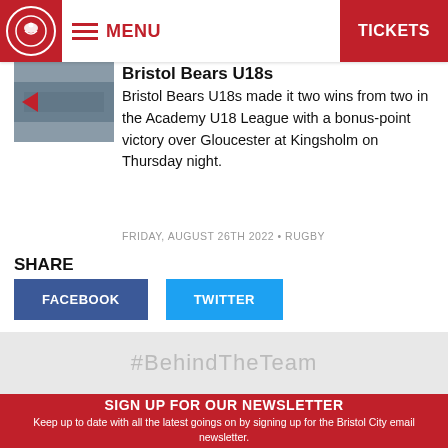MENU  TICKETS
Bristol Bears U18s
Bristol Bears U18s made it two wins from two in the Academy U18 League with a bonus-point victory over Gloucester at Kingsholm on Thursday night.
FRIDAY, AUGUST 26TH 2022 • RUGBY
SHARE
FACEBOOK  TWITTER
#BehindTheTeam
SIGN UP FOR OUR NEWSLETTER
Keep up to date with all the latest goings on by signing up for the Bristol City email newsletter.